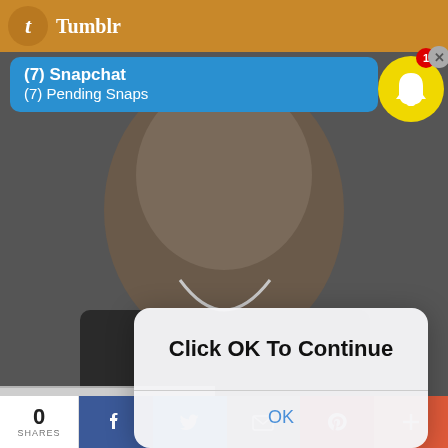[Figure (screenshot): Screenshot of a mobile phone screen showing a Tumblr app with a Snapchat notification banner reading '(7) Snapchat / (7) Pending Snaps', a dialog box overlay reading 'Click OK To Continue' with an OK button, a partially visible label 'Gabe Ugliano', Snapchat ghost icon in yellow circle top right, and a social sharing bar at the bottom with 0 SHARES, Facebook, Twitter, email, Pinterest, and more buttons.]